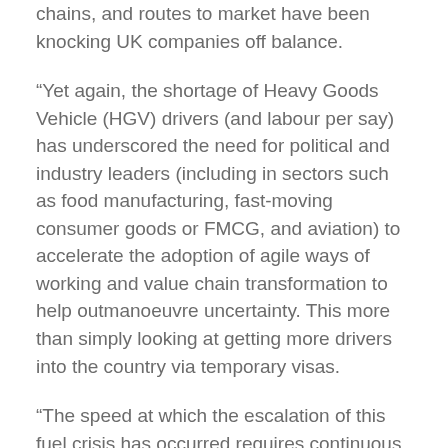chains, and routes to market have been knocking UK companies off balance.
“Yet again, the shortage of Heavy Goods Vehicle (HGV) drivers (and labour per say) has underscored the need for political and industry leaders (including in sectors such as food manufacturing, fast-moving consumer goods or FMCG, and aviation) to accelerate the adoption of agile ways of working and value chain transformation to help outmanoeuvre uncertainty. This more than simply looking at getting more drivers into the country via temporary visas.
“The speed at which the escalation of this fuel crisis has occurred requires continuous end-to-end assessment, optimisation and monitoring. Companies need to respond rapidly and confidently to shape and execute a short-term tactical plan that will mitigate the risks to food security in